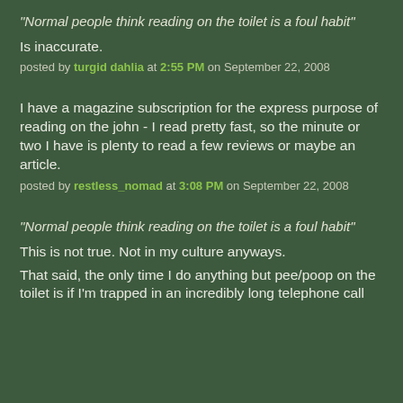"Normal people think reading on the toilet is a foul habit"
Is inaccurate.
posted by turgid dahlia at 2:55 PM on September 22, 2008
I have a magazine subscription for the express purpose of reading on the john - I read pretty fast, so the minute or two I have is plenty to read a few reviews or maybe an article.
posted by restless_nomad at 3:08 PM on September 22, 2008
"Normal people think reading on the toilet is a foul habit"
This is not true. Not in my culture anyways.
That said, the only time I do anything but pee/poop on the toilet is if I'm trapped in an incredibly long telephone call